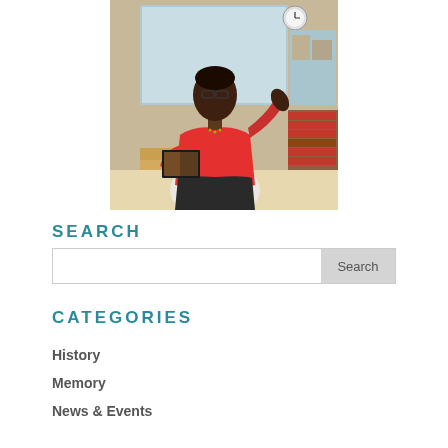[Figure (photo): A woman in a red top and dark skirt stands at a podium holding a book open, gesturing with her right hand. She wears glasses. In the background is a whiteboard/screen, a clock, and bookshelves with red books. The setting appears to be a library or classroom.]
SEARCH
Search button with input field
CATEGORIES
History
Memory
News & Events